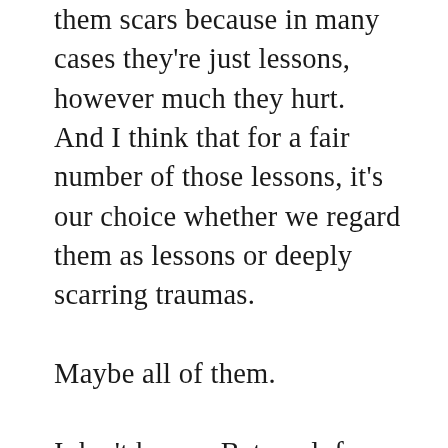them scars because in many cases they're just lessons, however much they hurt.  And I think that for a fair number of those lessons, it's our choice whether we regard them as lessons or deeply scarring traumas.

Maybe all of them.

I don't know.  Betrayal, for me, feels traumatic. But if I consider my expectations, open and hidden, and if I consider what I learned about myself because of a betrayal—I just can't comfortably label it a traumatic experience.  I feel like I have a couple of horrible scars, and